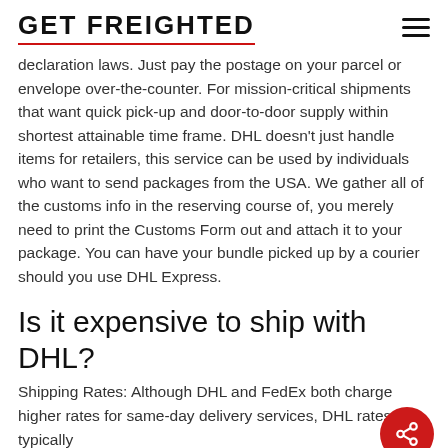GET FREIGHTED
declaration laws. Just pay the postage on your parcel or envelope over-the-counter. For mission-critical shipments that want quick pick-up and door-to-door supply within shortest attainable time frame. DHL doesn't just handle items for retailers, this service can be used by individuals who want to send packages from the USA. We gather all of the customs info in the reserving course of, you merely need to print the Customs Form out and attach it to your package. You can have your bundle picked up by a courier should you use DHL Express.
Is it expensive to ship with DHL?
Shipping Rates: Although DHL and FedEx both charge higher rates for same-day delivery services, DHL rates are typically